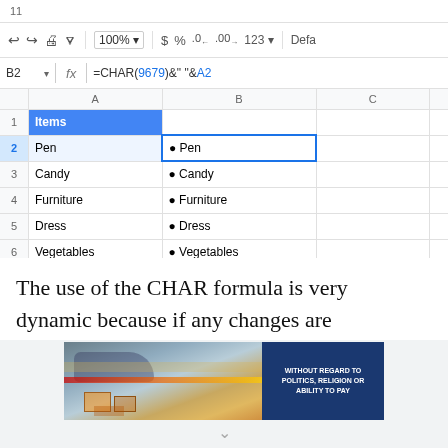[Figure (screenshot): Google Sheets spreadsheet showing CHAR formula. Cell B2 is selected with formula =CHAR(9679)&" "&A2. Column A has Items header (row 1) and values Pen, Candy, Furniture, Dress, Vegetables in rows 2-6. Column B shows bullet character followed by same values.]
The use of the CHAR formula is very dynamic because if any changes are
[Figure (photo): Advertisement banner showing an airplane being loaded with cargo, with text 'WITHOUT REGARD TO POLITICS, RELIGION OR ABILITY TO PAY']